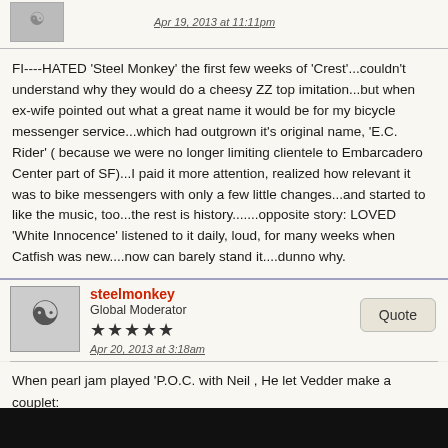Apr 19, 2013 at 11:11pm
FI----HATED 'Steel Monkey' the first few weeks of 'Crest'...couldn't understand why they would do a cheesy ZZ top imitation...but when ex-wife pointed out what a great name it would be for my bicycle messenger service...which had outgrown it's original name, 'E.C. Rider' ( because we were no longer limiting clientele to Embarcadero Center part of SF)...I paid it more attention, realized how relevant it was to bike messengers with only a few little changes...and started to like the music, too...the rest is history.......opposite story: LOVED 'White Innocence' listened to it daily, loud, for many weeks when Catfish was new....now can barely stand it....dunno why.
steelmonkey
Global Moderator
Apr 20, 2013 at 3:18am
When pearl jam played 'P.O.C. with Neil , He let Vedder make a couplet: Bought a magazine
to read about the scene,
it didn't tell me beans...it was a piece of crap'
so i did one for my kid'